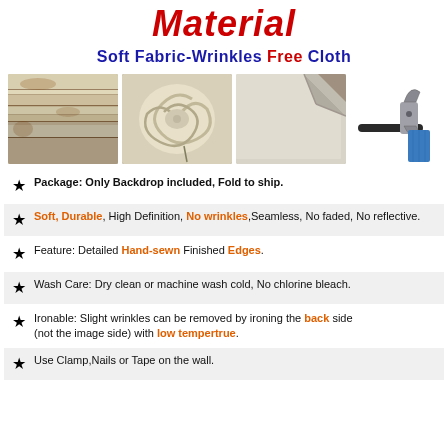Material
Soft Fabric-Wrinkles Free Cloth
[Figure (photo): Three fabric material photos showing stacked cloth, swirled cloth, and folded cloth corner; plus a clamp/clip accessory image]
Package: Only Backdrop included, Fold to ship.
Soft, Durable, High Definition, No wrinkles, Seamless, No faded, No reflective.
Feature: Detailed Hand-sewn Finished Edges.
Wash Care: Dry clean or machine wash cold, No chlorine bleach.
Ironable: Slight wrinkles can be removed by ironing the back side (not the image side) with low tempertrue.
Use Clamp, Nails or Tape on the wall.